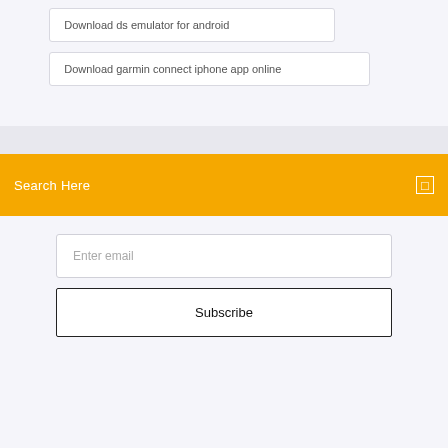Download ds emulator for android
Download garmin connect iphone app online
Search Here
Enter email
Subscribe